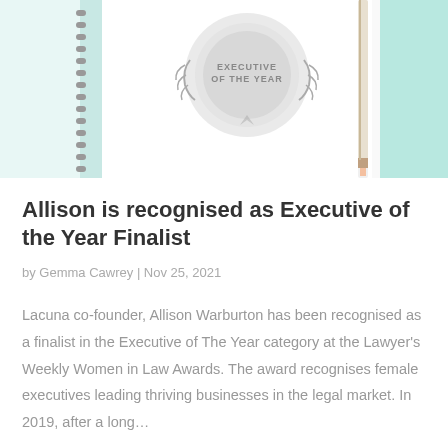[Figure (photo): Award badge reading 'Executive of the Year' with laurel wreath design, shown on a notepad next to a pencil on a teal/mint colored background]
Allison is recognised as Executive of the Year Finalist
by Gemma Cawrey | Nov 25, 2021
Lacuna co-founder, Allison Warburton has been recognised as a finalist in the Executive of The Year category at the Lawyer's Weekly Women in Law Awards. The award recognises female executives leading thriving businesses in the legal market. In 2019, after a long…